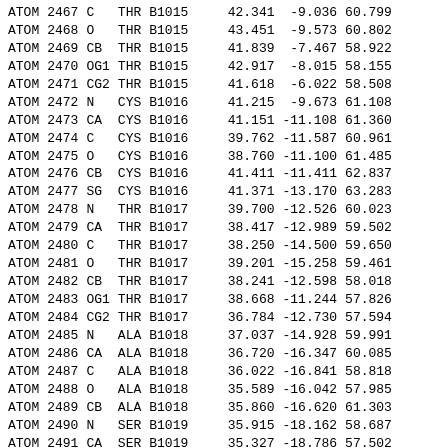| type | serial | atom | res | chain_seq | x | y | z |
| --- | --- | --- | --- | --- | --- | --- | --- |
| ATOM | 2467 | C | THR | B1015 | 42.341 | -9.036 | 60.799 |
| ATOM | 2468 | O | THR | B1015 | 43.451 | -9.573 | 60.802 |
| ATOM | 2469 | CB | THR | B1015 | 41.839 | -7.467 | 58.922 |
| ATOM | 2470 | OG1 | THR | B1015 | 42.917 | -8.015 | 58.155 |
| ATOM | 2471 | CG2 | THR | B1015 | 41.618 | -6.022 | 58.508 |
| ATOM | 2472 | N | CYS | B1016 | 41.215 | -9.673 | 61.108 |
| ATOM | 2473 | CA | CYS | B1016 | 41.151 | -11.108 | 61.360 |
| ATOM | 2474 | C | CYS | B1016 | 39.762 | -11.587 | 60.961 |
| ATOM | 2475 | O | CYS | B1016 | 38.760 | -11.100 | 61.485 |
| ATOM | 2476 | CB | CYS | B1016 | 41.411 | -11.411 | 62.837 |
| ATOM | 2477 | SG | CYS | B1016 | 41.371 | -13.170 | 63.283 |
| ATOM | 2478 | N | THR | B1017 | 39.700 | -12.526 | 60.023 |
| ATOM | 2479 | CA | THR | B1017 | 38.417 | -12.989 | 59.502 |
| ATOM | 2480 | C | THR | B1017 | 38.250 | -14.500 | 59.650 |
| ATOM | 2481 | O | THR | B1017 | 39.201 | -15.258 | 59.461 |
| ATOM | 2482 | CB | THR | B1017 | 38.241 | -12.598 | 58.018 |
| ATOM | 2483 | OG1 | THR | B1017 | 38.668 | -11.244 | 57.826 |
| ATOM | 2484 | CG2 | THR | B1017 | 36.784 | -12.730 | 57.594 |
| ATOM | 2485 | N | ALA | B1018 | 37.037 | -14.928 | 59.991 |
| ATOM | 2486 | CA | ALA | B1018 | 36.720 | -16.347 | 60.085 |
| ATOM | 2487 | C | ALA | B1018 | 36.022 | -16.841 | 58.818 |
| ATOM | 2488 | O | ALA | B1018 | 35.589 | -16.042 | 57.985 |
| ATOM | 2489 | CB | ALA | B1018 | 35.860 | -16.620 | 61.303 |
| ATOM | 2490 | N | SER | B1019 | 35.915 | -18.162 | 58.687 |
| ATOM | 2491 | CA | SER | B1019 | 35.327 | -18.786 | 57.502 |
| ATOM | 2492 | C | SER | B1019 | 33.827 | -18.537 | 57.389 |
| ATOM | 2493 | O | SER | B1019 | 33.303 | -18.367 | 56.286 |
| ATOM | 2494 | CB | SER | B1019 | 35.602 | -20.291 | 57.493 |
| ATOM | 2495 | OG | SER | B1019 | 36.985 | -20.550 | 57.328 |
| ATOM | 2496 | N | GLN | B1020 | 33.141 | -18.529 | 58.529 |